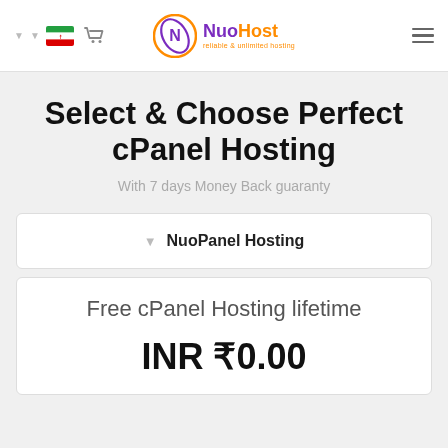NuoHost — navigation bar with language/flag selector, cart, logo, and hamburger menu
Select & Choose Perfect cPanel Hosting
With 7 days Money Back guaranty
NuoPanel Hosting
Free cPanel Hosting lifetime
INR ₹0.00